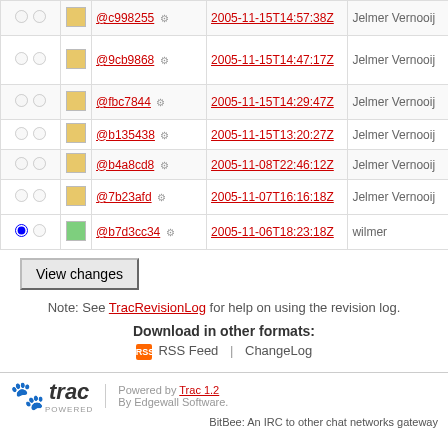|  |  | Hash | Date | Author | Message |
| --- | --- | --- | --- | --- | --- |
| ○ ○ | □(yellow) | @c998255 ⚙ | 2005-11-15T14:57:38Z | Jelmer Vernooij | Merge w... Jelmer |
| ○ ○ | □(yellow) | @9cb9868 ⚙ | 2005-11-15T14:47:17Z | Jelmer Vernooij | Remove handle_cr... replacing protocol-s... function. |
| ○ ○ | □(yellow) | @fbc7844 ⚙ | 2005-11-15T14:29:47Z | Jelmer Vernooij | Remove s... unused co... oscar |
| ○ ○ | □(yellow) | @b135438 ⚙ | 2005-11-15T13:20:27Z | Jelmer Vernooij | Merge ch... from Wilm... |
| ○ ○ | □(yellow) | @b4a8cd8 ⚙ | 2005-11-08T22:46:12Z | Jelmer Vernooij | Make ano... function s... |
| ○ ○ | □(yellow) | @7b23afd ⚙ | 2005-11-07T16:16:18Z | Jelmer Vernooij | Migrate m... pluginable... to use Wil... branch as... |
| ● ○ | □(green) | @b7d3cc34 ⚙ | 2005-11-06T18:23:18Z | wilmer | Initial repo... (0.99 rele... 0.99 |
View changes
Note: See TracRevisionLog for help on using the revision log.
Download in other formats:
RSS Feed | ChangeLog
Powered by Trac 1.2 By Edgewall Software.
BitBee: An IRC to other chat networks gateway